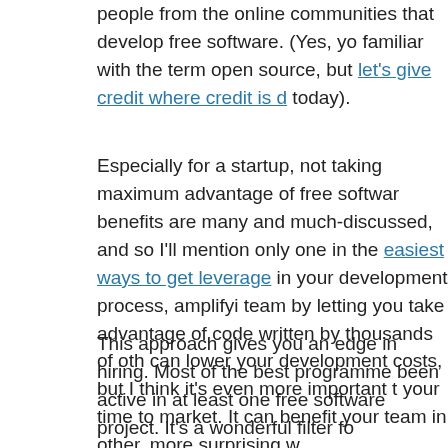people from the online communities that develop free software. (Yes, you may be familiar with the term open source, but let's give credit where credit is due today).
Especially for a startup, not taking maximum advantage of free software the benefits are many and much-discussed, and so I'll mention only one in the easiest ways to get leverage in your development process, amplifying your team by letting you take advantage of code written by thousands of othe can lower your development costs, but I think it's even more important to your time to market. It can benefit your team in other, more surprising w
This approach gives you an edge in hiring. Most of the best programme been active in at least one free software project. It's a wonderful filter fo intrinsically motivated by the art of programming. Beyond the quality of themselves, I've noticed three big effects of hiring out of free software c
You can hire an expert in your own code base. I've had the goo first-hand. I hired someone who was a key contributor to a librar used in our application. Although he didn't know much about our